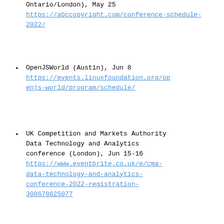(…), Ontario/London), May 25 https://abccopyright.com/conference-schedule-2022/
OpenJSWorld (Austin), Jun 8 https://events.linuxfoundation.org/openjs-world/program/schedule/
UK Competition and Markets Authority Data Technology and Analytics conference (London), Jun 15-16 https://www.eventbrite.co.uk/e/cma-data-technology-and-analytics-conference-2022-registration-308678625077